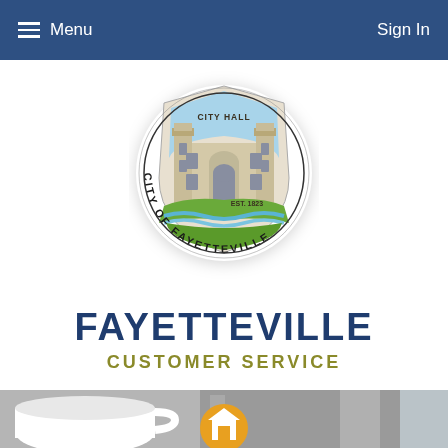Menu   Sign In
[Figure (logo): City of Fayetteville seal/logo: City Hall building with arch, blue sky, green grass, blue river, EST. 1823, circular badge reading CITY OF FAYETTEVILLE]
FAYETTEVILLE
CUSTOMER SERVICE
[Figure (photo): Photo of a white coffee mug and metal faucet/kitchen sink area with a home icon button overlaid]